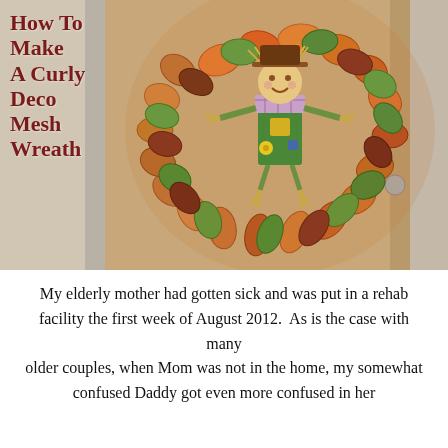[Figure (photo): A colorful curly deco mesh wreath with fall colors (orange, green, red, brown) hanging on a door, featuring a scarecrow figure in the center. Text overlay on the left reads 'How To Make A Curly Deco Mesh Wreath' in dark red.]
How To Make A Curly Deco Mesh Wreath
My elderly mother had gotten sick and was put in a rehab facility the first week of August 2012.  As is the case with many older couples, when Mom was not in the home, my somewhat confused Daddy got even more confused in her